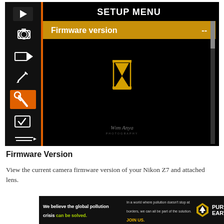[Figure (screenshot): Nikon Z7 camera LCD screen showing SETUP MENU with Firmware version selected and a hourglass/loading icon in the center, with menu icons on the left sidebar and a photographer's signature watermark]
Firmware Version
View the current camera firmware version of your Nikon Z7 and attached lens.
[Figure (other): Pure Earth advertising banner: 'We believe the global pollution crisis can be solved.' with text about pollution solutions and JOIN US call to action]